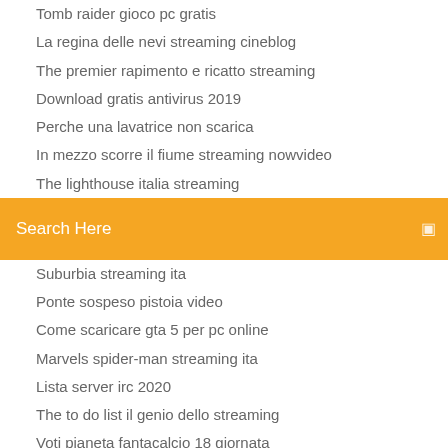Tomb raider gioco pc gratis
La regina delle nevi streaming cineblog
The premier rapimento e ricatto streaming
Download gratis antivirus 2019
Perche una lavatrice non scarica
In mezzo scorre il fiume streaming nowvideo
The lighthouse italia streaming
[Figure (screenshot): Orange search bar with 'Search Here' placeholder text and a search icon on the right]
Suburbia streaming ita
Ponte sospeso pistoia video
Come scaricare gta 5 per pc online
Marvels spider-man streaming ita
Lista server irc 2020
The to do list il genio dello streaming
Voti pianeta fantacalcio 18 giornata
Film the mask 2 streaming ita
Shades of blue streaming altadefinizione
La fredda luce del giorno streaming altadefinizione